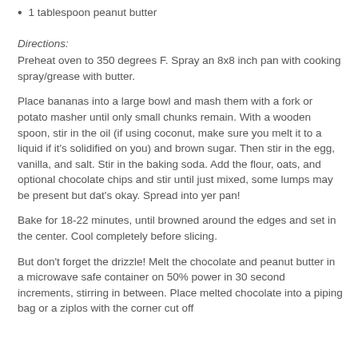1 tablespoon peanut butter
Directions:
Preheat oven to 350 degrees F.  Spray an 8x8 inch pan with cooking spray/grease with butter.
Place bananas into a large bowl and mash them with a fork or potato masher until only small chunks remain.  With a wooden spoon, stir in the oil (if using coconut, make sure you melt it to a liquid if it's solidified on you) and brown sugar.  Then stir in the egg, vanilla, and salt.  Stir in the baking soda.  Add the flour, oats, and optional chocolate chips and stir until just mixed, some lumps may be present but dat's okay.  Spread into yer pan!
Bake for 18-22 minutes, until browned around the edges and set in the center.  Cool completely before slicing.
But don't forget the drizzle!  Melt the chocolate and peanut butter in a microwave safe container on 50% power in 30 second increments, stirring in between.  Place melted chocolate into a piping bag or a ziplos with the corner cut off